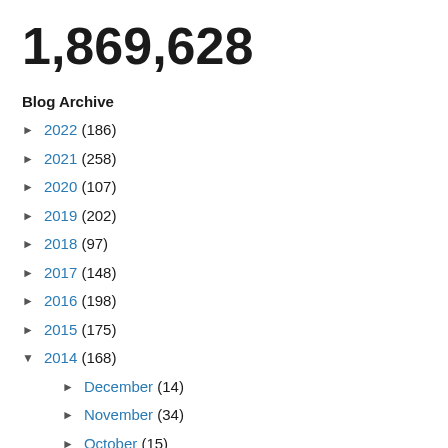1,869,628
Blog Archive
► 2022 (186)
► 2021 (258)
► 2020 (107)
► 2019 (202)
► 2018 (97)
► 2017 (148)
► 2016 (198)
► 2015 (175)
▼ 2014 (168)
► December (14)
► November (34)
► October (15)
► September (13)
► August (24)
▼ July (8)